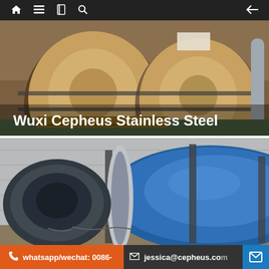Navigation bar with home, menu, book, search icons and back arrow
[Figure (photo): Industrial stainless steel coils in brown/tan colored wrapping stored in a warehouse or factory, with text overlay 'Wuxi Cepheus Stainless Steel']
[Figure (photo): Stainless steel coil wrapped in blue protective film inside a shipping container]
whatsapp/wechat: 0086- | jessica@cepheus.com